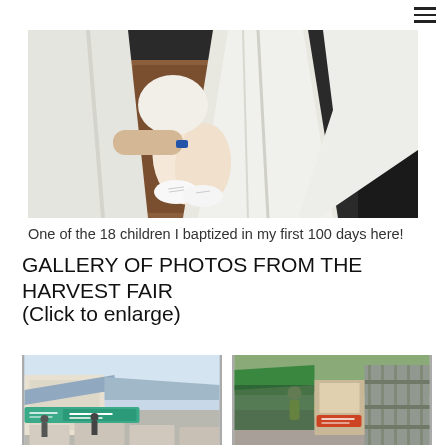[Figure (photo): Close-up photo of a small child in white clothing with white shoes being held, with adults in white robes visible. A baptism scene.]
One of the 18 children I baptized in my first 100 days here!
GALLERY OF PHOTOS FROM THE HARVEST FAIR
(Click to enlarge)
[Figure (photo): Outdoor fair or market scene with signage visible, showing vendor stalls.]
[Figure (photo): Outdoor fair scene with people and structures visible.]